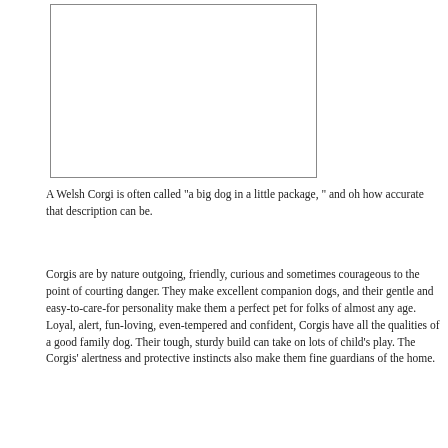[Figure (other): Empty white rectangle with border, placeholder image area]
A Welsh Corgi is often called "a big dog in a little package, " and oh how accurate that description can be.
Corgis are by nature outgoing, friendly, curious and sometimes courageous to the point of courting danger. They make excellent companion dogs, and their gentle and easy-to-care-for personality make them a perfect pet for folks of almost any age. Loyal, alert, fun-loving, even-tempered and confident, Corgis have all the qualities of a good family dog. Their tough, sturdy build can take on lots of child's play. The Corgis' alertness and protective instincts also make them fine guardians of the home.